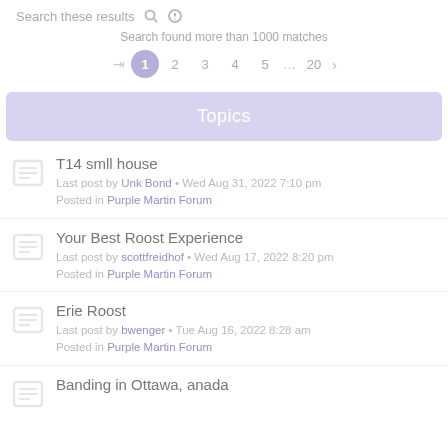Search these results
Search found more than 1000 matches
1 2 3 4 5 … 20
Topics
T14 smll house
Last post by Unk Bond • Wed Aug 31, 2022 7:10 pm
Posted in Purple Martin Forum
Your Best Roost Experience
Last post by scottfreidhof • Wed Aug 17, 2022 8:20 pm
Posted in Purple Martin Forum
Erie Roost
Last post by bwenger • Tue Aug 16, 2022 8:28 am
Posted in Purple Martin Forum
Banding in Ottawa, anada